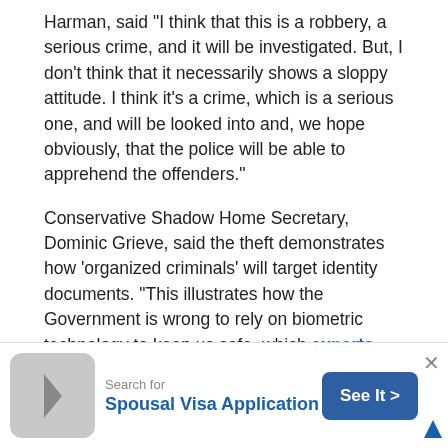Harman, said "I think that this is a robbery, a serious crime, and it will be investigated. But, I don't think that it necessarily shows a sloppy attitude. I think it's a crime, which is a serious one, and will be looked into and, we hope obviously, that the police will be able to apprehend the offenders."
Conservative Shadow Home Secretary, Dominic Grieve, said the theft demonstrates how 'organized criminals' will target identity documents. "This illustrates how the Government is wrong to rely on biometric technology to keep us safe, which experts have shown can be easily cloned."
Keith Vaz, a Labour MP and chairman of the influential Commons Home Affairs Committee, wants an inquiry into UK passport security. He said he is writing to the Home Sec...
[Figure (other): Advertisement banner: Search for Spousal Visa Application with See It button]